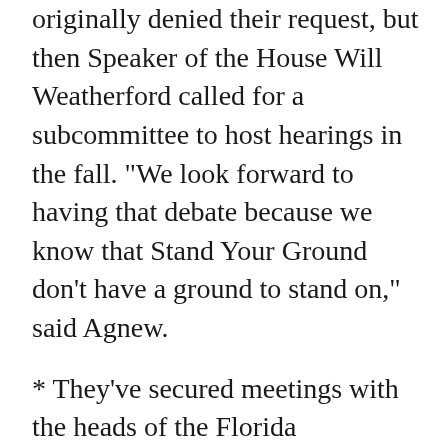originally denied their request, but then Speaker of the House Will Weatherford called for a subcommittee to host hearings in the fall. "We look forward to having that debate because we know that Stand Your Ground don't have a ground to stand on," said Agnew.
* They've secured meetings with the heads of the Florida Department of Education and the Florida Department of Juvenile Justice to discuss "zero tolerance" school policies.
* They authored a bill "Trayvon's Law," which the youth organizers will help state senators workshop through briefings and conferences.
* In addition to having that bill filed, they triggered a legislative poll, a head count to see